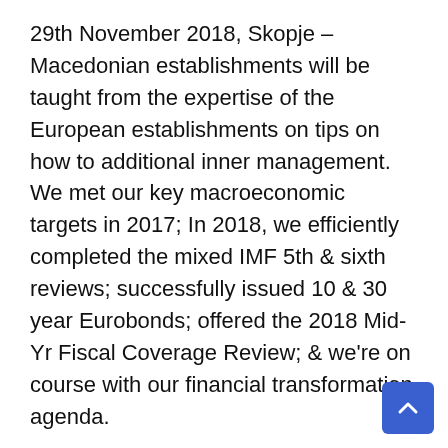29th November 2018, Skopje – Macedonian establishments will be taught from the expertise of the European establishments on tips on how to additional inner management. We met our key macroeconomic targets in 2017; In 2018, we efficiently completed the mixed IMF 5th & sixth reviews; successfully issued 10 & 30 year Eurobonds; offered the 2018 Mid-Yr Fiscal Coverage Review; & we're on course with our financial transformation agenda.
The Ministry for Common Government Affairs and Finance is formally headed by the Prime Minister. Environment friendly cooperation with international organisations, particularly with the European Union, is important to us, because the decisions made there have an ever-